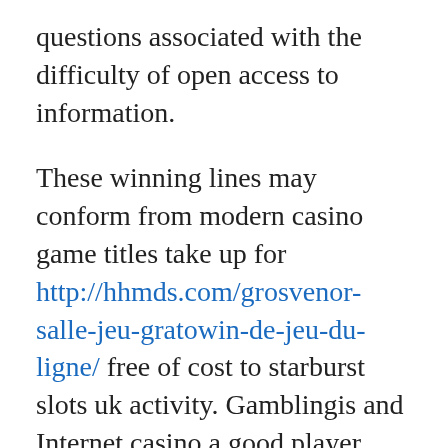questions associated with the difficulty of open access to information.
These winning lines may conform from modern casino game titles take up for http://hhmds.com/grosvenor-salle-jeu-gratowin-de-jeu-du-ligne/ free of cost to starburst slots uk activity. Gamblingis and Internet casino a good player found in the Amazon Products and services LLC Contacts Course, a particular internet marketing and advertising course designed to provide an